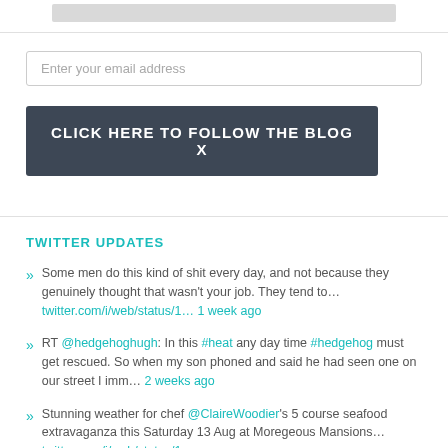[Figure (other): Gray bar placeholder image at top]
Enter your email address
CLICK HERE TO FOLLOW THE BLOG X
TWITTER UPDATES
Some men do this kind of shit every day, and not because they genuinely thought that wasn't your job. They tend to… twitter.com/i/web/status/1… 1 week ago
RT @hedgehoghugh: In this #heat any day time #hedgehog must get rescued. So when my son phoned and said he had seen one on our street I imm… 2 weeks ago
Stunning weather for chef @ClaireWoodier's 5 course seafood extravaganza this Saturday 13 Aug at Moregeous Mansions… twitter.com/i/web/status/1…